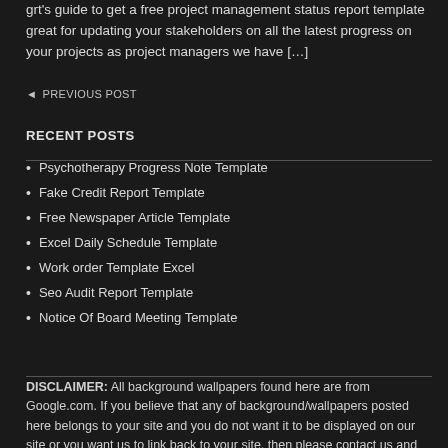grt's guide to get a free project management status report template great for updating your stakeholders on all the latest progress on your projects as project managers we have […]
◄ PREVIOUS POST
RECENT POSTS
Psychotherapy Progress Note Template
Fake Credit Report Template
Free Newspaper Article Template
Excel Daily Schedule Template
Work order Template Excel
Seo Audit Report Template
Notice Of Board Meeting Template
DISCLAIMER: All background wallpapers found here are from Google.com. If you believe that any of background/wallpapers posted here belongs to your site and you do not want it to be displayed on our site or you want us to link back to your site, then please contact us and we will take action immediately. We